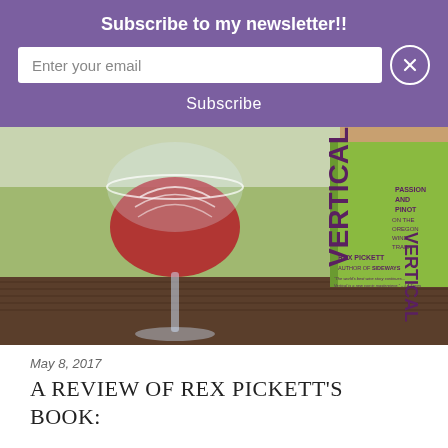Subscribe to my newsletter!!
Enter your email
Subscribe
[Figure (photo): A wine glass filled with red wine next to a green book titled 'Vertical: Passion and Pinot on the Oregon Wine Trail' by Rex Pickett, author of Sideways. The book cover shows an upside-down wine glass with wine pouring out. A quote reads 'The world's best wine story continues... Vertical is a new comic masterpiece. - LA Times'. Both items rest on a wooden table outdoors.]
May 8, 2017
A REVIEW OF REX PICKETT'S BOOK: